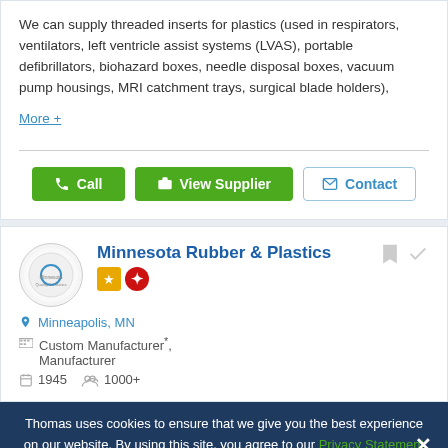We can supply threaded inserts for plastics (used in respirators, ventilators, left ventricle assist systems (LVAS), portable defibrillators, biohazard boxes, needle disposal boxes, vacuum pump housings, MRI catchment trays, surgical blade holders),
More +
Call | View Supplier | Contact
Minnesota Rubber & Plastics
Minneapolis, MN
Custom Manufacturer*, Manufacturer
1945   1000+
Thomas uses cookies to ensure that we give you the best experience on our website. By using this site, you agree to our Privacy Statement and our Terms of Use.